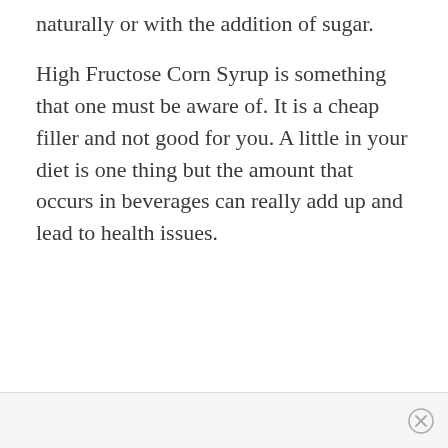naturally or with the addition of sugar.
High Fructose Corn Syrup is something that one must be aware of. It is a cheap filler and not good for you. A little in your diet is one thing but the amount that occurs in beverages can really add up and lead to health issues.